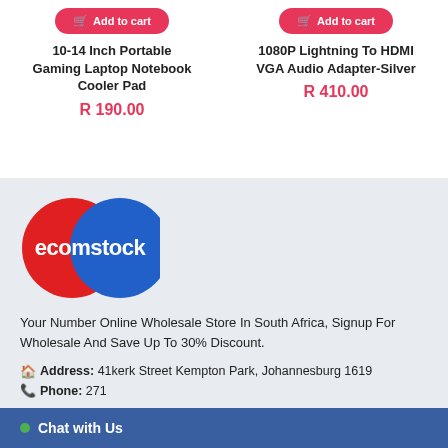Add to Cart
10-14 Inch Portable Gaming Laptop Notebook Cooler Pad
R 190.00
Add to Cart
1080P Lightning To HDMI VGA Audio Adapter-Silver
R 410.00
[Figure (logo): Ecomstock logo with overlapping red and blue circles and white text 'ecomstock']
Your Number Online Wholesale Store In South Africa, Signup For Wholesale And Save Up To 30% Discount.
Address: 41kerk Street Kempton Park, Johannesburg 1619
Phone: 271
Chat with Us